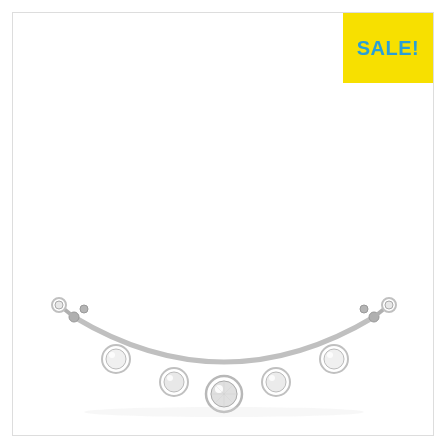[Figure (photo): Silver cuff bracelet with round crystal/rhinestone embellishments arranged along the arc, with ball-end tips on each open end. The bracelet is shown against a white background. A yellow 'SALE!' badge is in the top right corner.]
SALE!